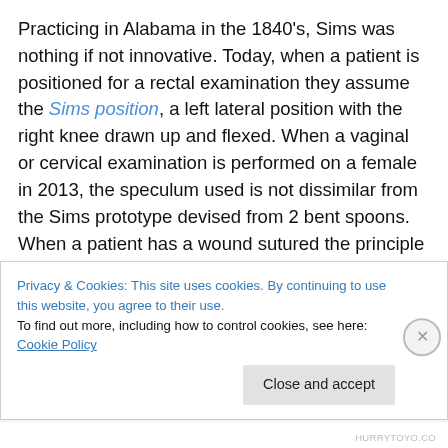Practicing in Alabama in the 1840's, Sims was nothing if not innovative. Today, when a patient is positioned for a rectal examination they assume the Sims position, a left lateral position with the right knee drawn up and flexed. When a vaginal or cervical examination is performed on a female in 2013, the speculum used is not dissimilar from the Sims prototype devised from 2 bent spoons. When a patient has a wound sutured the principle of using a sterilized silver suture comes from Sims. All of these techniques have their origin in the experiments Sims performed on slave women suffering from the
Privacy & Cookies: This site uses cookies. By continuing to use this website, you agree to their use. To find out more, including how to control cookies, see here: Cookie Policy